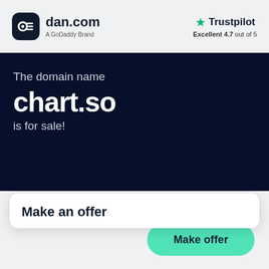[Figure (logo): dan.com logo with dark rounded square icon and text 'dan.com' with subtitle 'A GoDaddy Brand']
[Figure (logo): Trustpilot logo with green star and text 'Trustpilot', rating 'Excellent 4.7 out of 5']
The domain name
chart.so
is for sale!
Make an offer
Make offer